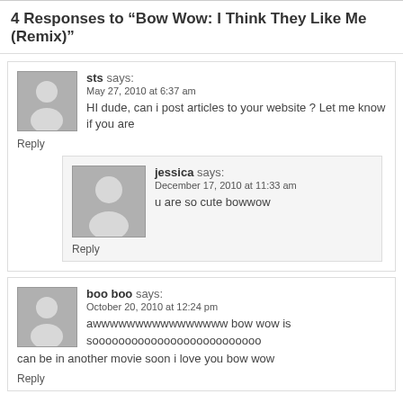4 Responses to “Bow Wow: I Think They Like Me (Remix)”
sts says:
May 27, 2010 at 6:37 am
HI dude, can i post articles to your website ? Let me know if you are
Reply
jessica says:
December 17, 2010 at 11:33 am
u are so cute bowwow
Reply
boo boo says:
October 20, 2010 at 12:24 pm
awwwwwwwwwwwwwwww bow wow is soooooooooooooooooooooooo... can be in another movie soon i love you bow wow
Reply